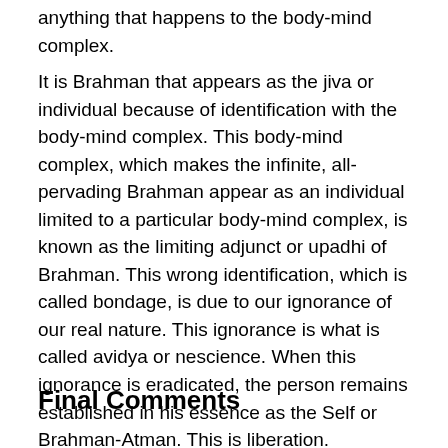anything that happens to the body-mind complex.
It is Brahman that appears as the jiva or individual because of identification with the body-mind complex. This body-mind complex, which makes the infinite, all-pervading Brahman appear as an individual limited to a particular body-mind complex, is known as the limiting adjunct or upadhi of Brahman. This wrong identification, which is called bondage, is due to our ignorance of our real nature. This ignorance is what is called avidya or nescience. When this ignorance is eradicated, the person remains established in his essence as the Self or Brahman-Atman. This is liberation.
Final Comments